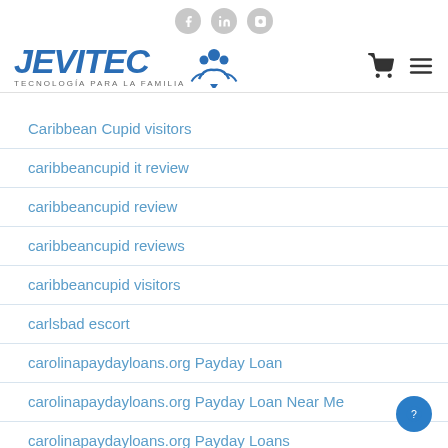JEVITEC - TECNOLOGÍA PARA LA FAMILIA
Caribbean Cupid visitors
caribbeancupid it review
caribbeancupid review
caribbeancupid reviews
caribbeancupid visitors
carlsbad escort
carolinapaydayloans.org Payday Loan
carolinapaydayloans.org Payday Loan Near Me
carolinapaydayloans.org Payday Loans